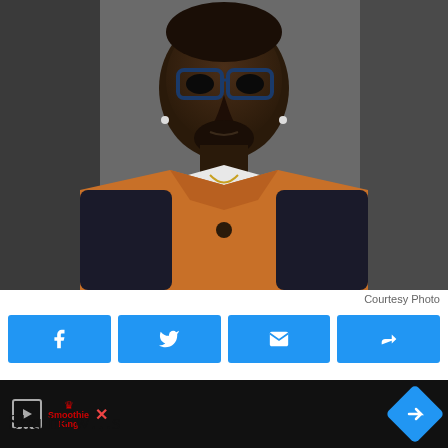[Figure (photo): Portrait photo of a man wearing glasses, a brown/tan leather vest over a black jacket and white t-shirt, with small stud earrings. Background is blurred indoor setting.]
Courtesy Photo
[Figure (infographic): Social share buttons bar with Facebook, Twitter, Email, and Share icons in blue]
The end of the road is nowhere in sight for Shu… he w…s
[Figure (infographic): Advertisement bar at bottom with Smoothie King logo, play button, X close button, and blue diamond navigation arrow]